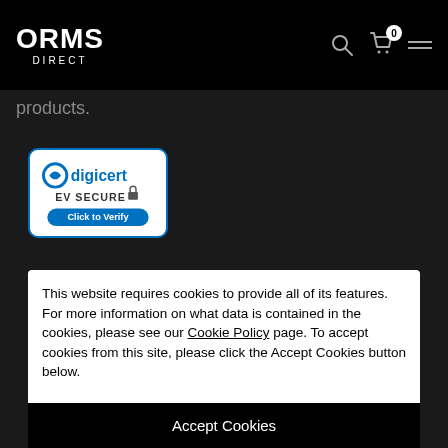[Figure (logo): ORMS DIRECT logo in white on black header bar]
products.
[Figure (illustration): DigiCert EV Secure Click to Verify badge with blue border and lock icon]
This website requires cookies to provide all of its features. For more information on what data is contained in the cookies, please see our Cookie Policy page. To accept cookies from this site, please click the Accept Cookies button below.
Accept Cookies
Decline
Customize Settings